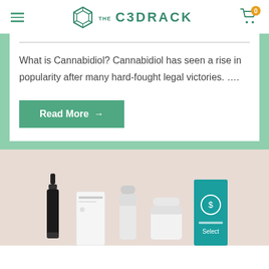THE CBDRACK — navigation header with hamburger menu, logo, and cart icon (badge: 0)
What is Cannabidiol? Cannabidiol has seen a rise in popularity after many hard-fought legal victories. ….
Read More →
[Figure (photo): Product section with pinkish-beige background showing CBD product bottles and boxes including a dropper bottle, white box, pill bottle, white jar, and a teal Select box]